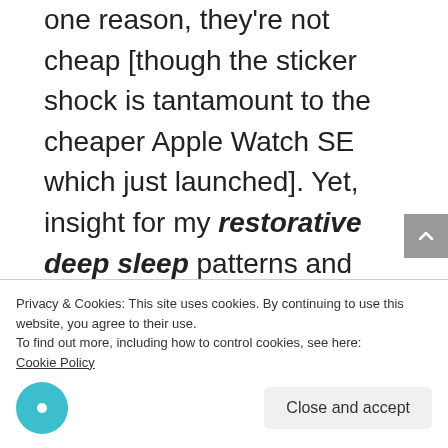one reason, they're not cheap [though the sticker shock is tantamount to the cheaper Apple Watch SE which just launched]. Yet, insight for my restorative deep sleep patterns and very important training feedback for critical heart rate variability is, I believe, a step
Privacy & Cookies: This site uses cookies. By continuing to use this website, you agree to their use.
To find out more, including how to control cookies, see here:
Cookie Policy